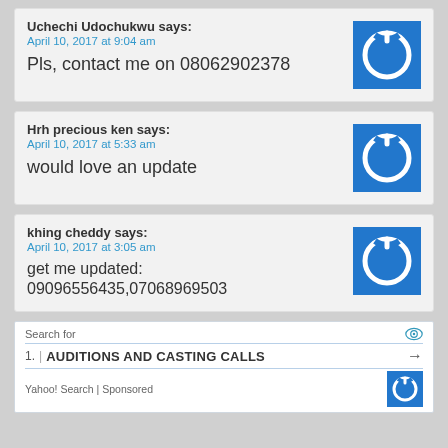Uchechi Udochukwu says:
April 10, 2017 at 9:04 am
Pls, contact me on 08062902378
Hrh precious ken says:
April 10, 2017 at 5:33 am
would love an update
khing cheddy says:
April 10, 2017 at 3:05 am
get me updated: 09096556435,07068969503
Search for
1. | AUDITIONS AND CASTING CALLS
Yahoo! Search | Sponsored